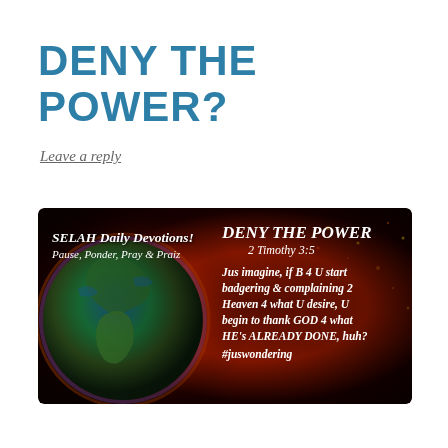DENY THE POWER?
Leave a reply
[Figure (illustration): Devotional banner image showing Earth with fiery cosmic background. Left side shows 'SELAH Daily Devotions! Pause, Ponder, Pray & Praiz'. Right side shows bold italic text: 'DENY THE POWER 2 Timothy 3:5 Jus imagine, if B 4 U start badgering & complaining 2 Heaven 4 what U desire, U begin to thank GOD 4 what HE's ALREADY DONE, huh? #juswondering']